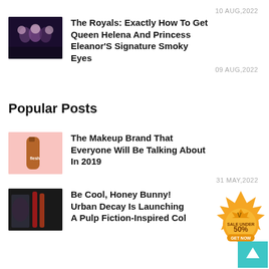10 AUG,2022
The Royals: Exactly How To Get Queen Helena And Princess Eleanor'S Signature Smoky Eyes
09 AUG,2022
Popular Posts
The Makeup Brand That Everyone Will Be Talking About In 2019
31 MAY,2022
Be Cool, Honey Bunny! Urban Decay Is Launching A Pulp Fiction-Inspired Col
[Figure (illustration): Orange badge/crown icon with text SALE UNDER 50% and GET NOW button]
[Figure (illustration): Teal scroll-to-top button with up arrow]